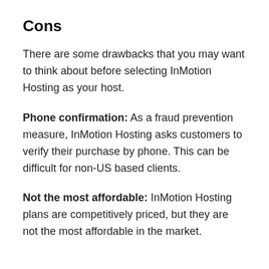Cons
There are some drawbacks that you may want to think about before selecting InMotion Hosting as your host.
Phone confirmation: As a fraud prevention measure, InMotion Hosting asks customers to verify their purchase by phone. This can be difficult for non-US based clients.
Not the most affordable: InMotion Hosting plans are competitively priced, but they are not the most affordable in the market.